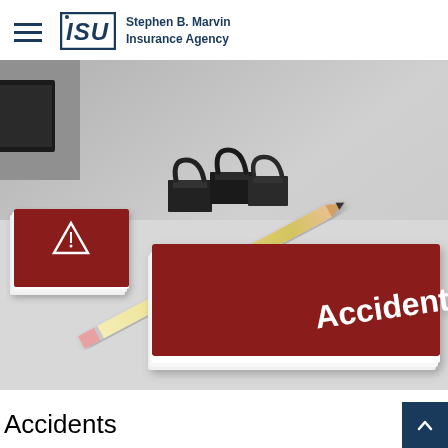ISU Stephen B. Marvin Insurance Agency
[Figure (photo): Overhead view of a grey desk surface with branding materials including a dark red business card/booklet labeled 'Accidents' in white bold text, a smaller dark red card with a white triangle warning icon, a pencil, and two black binder clips. The image has a cool grey tone and appears to be a branded stationery mockup.]
Accidents